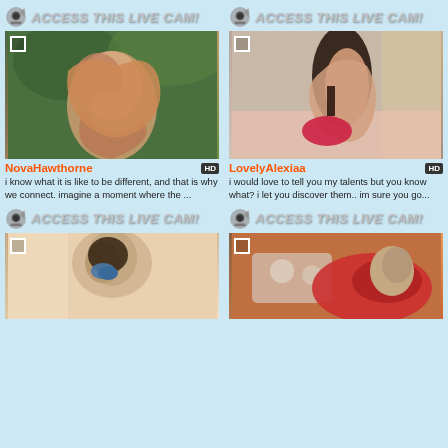[Figure (other): ACCESS THIS LIVE CAM! button with webcam icon, top left]
[Figure (other): ACCESS THIS LIVE CAM! button with webcam icon, top right]
[Figure (photo): Photo of woman with red curly hair outdoors among green leaves, NovaHawthorne]
[Figure (photo): Photo of woman in lingerie by a wall, LovelyAlexiaa]
NovaHawthorne
LovelyAlexiaa
i know what it is like to be different, and that is why we connect. imagine a moment where the ...
i would love to tell you my talents but you know what? i let you discover them.. im sure you go...
[Figure (other): ACCESS THIS LIVE CAM! button with webcam icon, bottom left]
[Figure (other): ACCESS THIS LIVE CAM! button with webcam icon, bottom right]
[Figure (photo): Close-up photo of woman with dark hair and blue eyes]
[Figure (photo): Photo of woman in red outfit lying on a couch with patterned pillow]